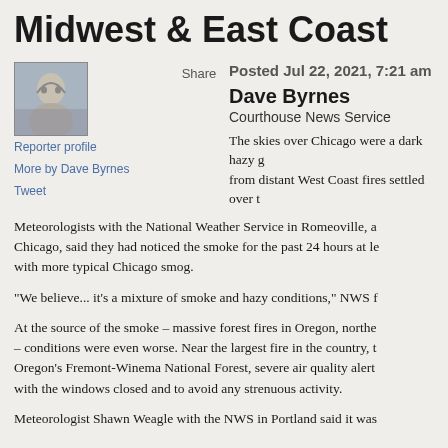Midwest & East Coast
Posted Jul 22, 2021, 7:21 am
Share
[Figure (photo): Reporter profile photo - grayscale portrait of a person]
Reporter profile
More by Dave Byrnes
Tweet
Dave Byrnes
Courthouse News Service
The skies over Chicago were a dark hazy g... from distant West Coast fires settled over t...
Meteorologists with the National Weather Service in Romeoville, a... Chicago, said they had noticed the smoke for the past 24 hours at le... with more typical Chicago smog.
"We believe... it's a mixture of smoke and hazy conditions," NWS f...
At the source of the smoke – massive forest fires in Oregon, northe... – conditions were even worse. Near the largest fire in the country, t... Oregon's Fremont-Winema National Forest, severe air quality alert... with the windows closed and to avoid any strenuous activity.
Meteorologist Shawn Weagle with the NWS in Portland said it was...